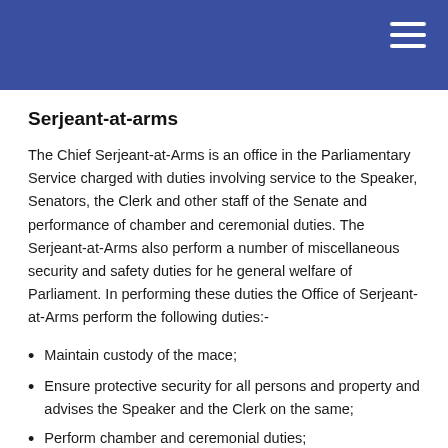Serjeant-at-arms
The Chief Serjeant-at-Arms is an office in the Parliamentary Service charged with duties involving service to the Speaker, Senators, the Clerk and other staff of the Senate and performance of chamber and ceremonial duties. The Serjeant-at-Arms also perform a number of miscellaneous security and safety duties for he general welfare of Parliament. In performing these duties the Office of Serjeant-at-Arms perform the following duties:-
Maintain custody of the mace;
Ensure protective security for all persons and property and advises the Speaker and the Clerk on the same;
Perform chamber and ceremonial duties;
Provide interdepartmental and chamber support services;
Enforce and implement the Speaker's orders and other directives;
Allocate office accommodation to Senators and staff and